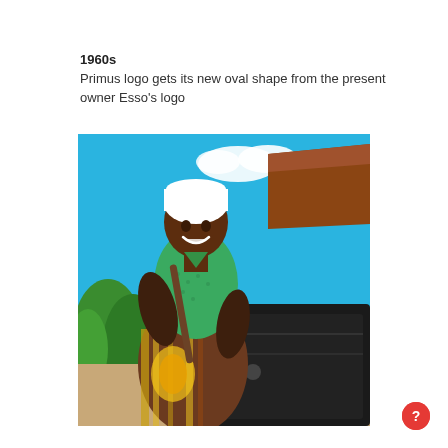1960s
Primus logo gets its new oval shape from the present owner Esso's logo
[Figure (photo): A smiling African woman wearing a white head wrap and a green patterned top with a colorful printed skirt, stirring or cooking over a large black stove or pot outdoors, with a thatched roof structure and blue sky with clouds in the background.]